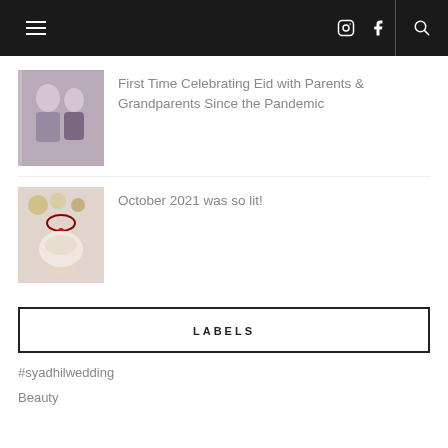Navigation header with hamburger menu, Instagram, Facebook, and search icons
[Figure (photo): Thumbnail photo of people in traditional clothing]
First Time Celebrating Eid with Parents & Grandparents Since the Pandemic
[Figure (photo): Thumbnail photo of a woman with food items]
October 2021 was so lit!
LABELS
#syadhilwedding
Beauty